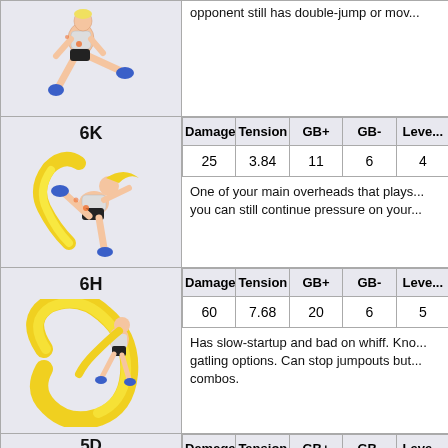opponent still has double-jump or mov...
[Figure (illustration): Game character doing a jumping kick animation]
6K
| Damage | Tension | GB+ | GB- | Leve... |
| --- | --- | --- | --- | --- |
| 25 | 3.84 | 11 | 6 | 4 |
One of your main overheads that plays... you can still continue pressure on your...
[Figure (illustration): Game character performing 6K overhead kick with yellow energy trail]
6H
| Damage | Tension | GB+ | GB- | Leve... |
| --- | --- | --- | --- | --- |
| 60 | 7.68 | 20 | 6 | 5 |
Has slow-startup and bad on whiff. Kno... gatling options. Can stop jumpouts but... combos.
[Figure (illustration): Game character performing 6H spinning attack with large yellow arc]
5D
| Damage | Tension | GB+ | GB- | Leve... |
| --- | --- | --- | --- | --- |
| 13 | 3.64 | 8 | 20 | 3... |
[Figure (illustration): Game character performing 5D with circular yellow energy]